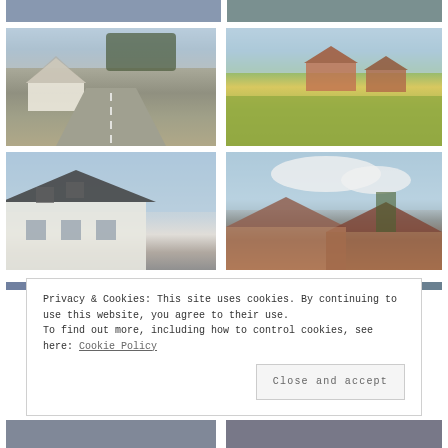[Figure (photo): Partial view of two road/travel photos at the very top of the page (cropped)]
[Figure (photo): Road scene with half-timbered houses and a curving road in a German village]
[Figure (photo): Rural countryside scene with red-roofed houses, green fields and trees]
[Figure (photo): Close-up of a white house with dark roof and dormers against a cloudy sky]
[Figure (photo): Rooftops of buildings with trees and cloudy sky, viewed from a car]
[Figure (photo): Partial view of two more road/driving photos at the bottom (cropped)]
Privacy & Cookies: This site uses cookies. By continuing to use this website, you agree to their use.
To find out more, including how to control cookies, see here: Cookie Policy
Close and accept